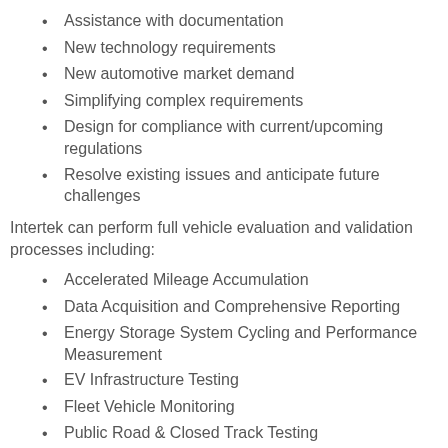Assistance with documentation
New technology requirements
New automotive market demand
Simplifying complex requirements
Design for compliance with current/upcoming regulations
Resolve existing issues and anticipate future challenges
Intertek can perform full vehicle evaluation and validation processes including:
Accelerated Mileage Accumulation
Data Acquisition and Comprehensive Reporting
Energy Storage System Cycling and Performance Measurement
EV Infrastructure Testing
Fleet Vehicle Monitoring
Public Road & Closed Track Testing
Rough Road Testing
Evaluate Interoperability between Devices and